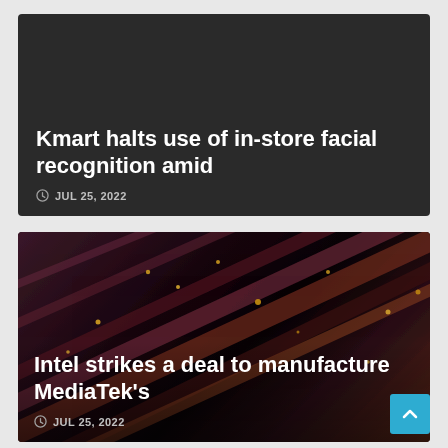[Figure (screenshot): News article card with dark background showing headline: Kmart halts use of in-store facial recognition amid, with date JUL 25, 2022]
Kmart halts use of in-store facial recognition amid
JUL 25, 2022
[Figure (screenshot): News article card with fiber optic cable background photo showing headline: Intel strikes a deal to manufacture MediaTek's, with date JUL 25, 2022]
Intel strikes a deal to manufacture MediaTek's
JUL 25, 2022